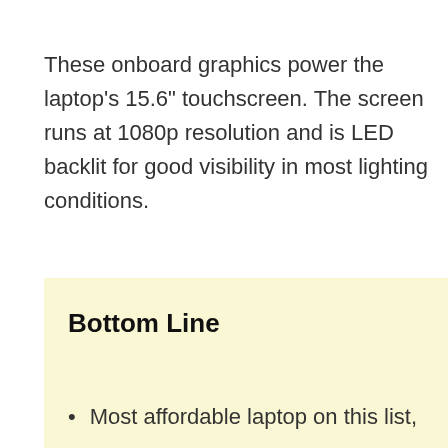These onboard graphics power the laptop's 15.6" touchscreen. The screen runs at 1080p resolution and is LED backlit for good visibility in most lighting conditions.
Bottom Line
Most affordable laptop on this list,